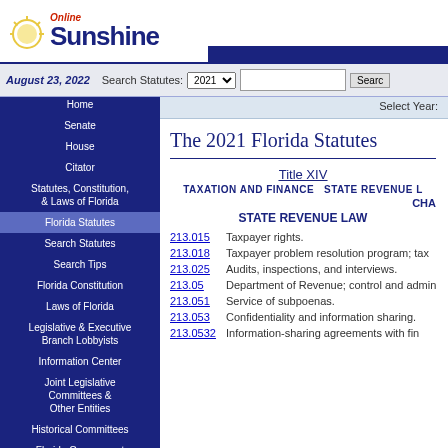Online Sunshine — Florida Legislature website header
August 23, 2022   Search Statutes: 2021
Home
Senate
House
Citator
Statutes, Constitution, & Laws of Florida
Florida Statutes
Search Statutes
Search Tips
Florida Constitution
Laws of Florida
Legislative & Executive Branch Lobbyists
Information Center
Joint Legislative Committees & Other Entities
Historical Committees
Florida Government Efficiency Task Force
Legislative Employment
Legistore
Select Year:
The 2021 Florida Statutes
Title XIV
TAXATION AND FINANCE   STATE REVENUE L...
CHA...
STATE REVENUE LAW...
| Statute | Description |
| --- | --- |
| 213.015 | Taxpayer rights. |
| 213.018 | Taxpayer problem resolution program; tax... |
| 213.025 | Audits, inspections, and interviews. |
| 213.05 | Department of Revenue; control and admin... |
| 213.051 | Service of subpoenas. |
| 213.053 | Confidentiality and information sharing. |
| 213.0532 | Information-sharing agreements with fin... |